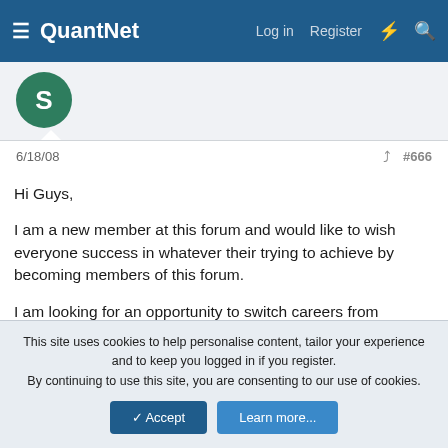QuantNet  Log in  Register
[Figure (illustration): Green circular avatar with letter S]
6/18/08  #666
Hi Guys,

I am a new member at this forum and would like to wish everyone success in whatever their trying to achieve by becoming members of this forum.

I am looking for an opportunity to switch careers from Operations Research/ Optimization to finance. I have a PhD in Operations Research, BS & MS in Applied Mathematics, and BS & MS in Computer science all from top universities. I have been working for the past 4 years in Math programming for a very
This site uses cookies to help personalise content, tailor your experience and to keep you logged in if you register.
By continuing to use this site, you are consenting to our use of cookies.